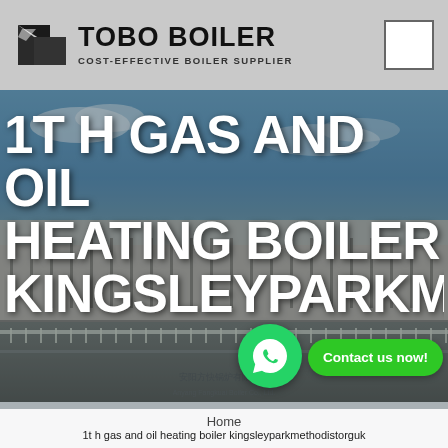[Figure (logo): Tobo Boiler logo with triangular icon and text]
TOBO BOILER
COST-EFFECTIVE BOILER SUPPLIER
[Figure (photo): Background photo of a boiler manufacturing factory building with Chinese text signage]
1T H GAS AND OIL HEATING BOILER KINGSLEYPARKMETHODISTORGUK
Contact us now!
Home
1t h gas and oil heating boiler kingsleyparkmethodistorguk